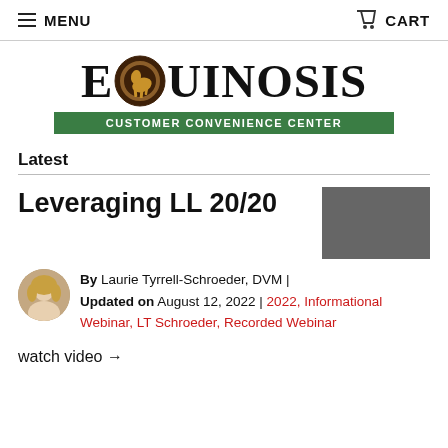MENU  CART
[Figure (logo): Equinosis Customer Convenience Center logo with horse graphic in letter O]
Latest
Leveraging LL 20/20
By Laurie Tyrrell-Schroeder, DVM | Updated on August 12, 2022 | 2022, Informational Webinar, LT Schroeder, Recorded Webinar
watch video →